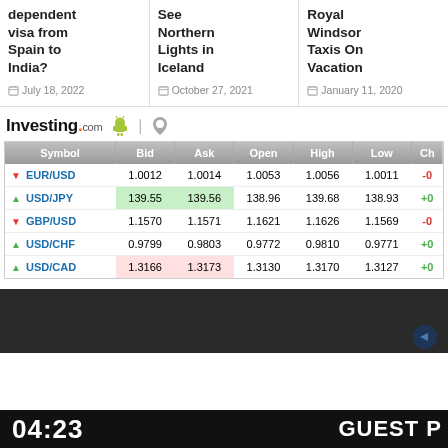dependent visa from Spain to India?
July 18, 2022
See Northern Lights in Iceland
October 27, 2021
Royal Windsor Taxis On Vacation
January 11, 2020
[Figure (logo): Investing.com logo with Android and Apple app icons]
| Symbol | Bid | Ask | Open | High | Low | Ch |
| --- | --- | --- | --- | --- | --- | --- |
| EUR/USD | 1.0012 | 1.0014 | 1.0053 | 1.0056 | 1.0011 | -0 |
| USD/JPY | 139.55 | 139.56 | 138.96 | 139.68 | 138.93 | +0 |
| GBP/USD | 1.1570 | 1.1571 | 1.1621 | 1.1626 | 1.1569 | -0 |
| USD/CHF | 0.9799 | 0.9803 | 0.9772 | 0.9810 | 0.9771 | +0 |
| USD/CAD | 1.3166 | 1.3173 | 1.3130 | 1.3170 | 1.3127 | +0 |
[Figure (screenshot): Dark video player area]
04:23
GUEST P